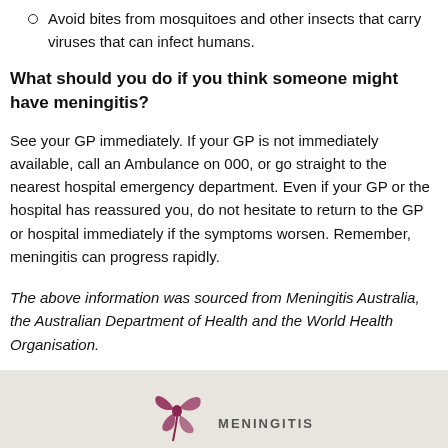Avoid bites from mosquitoes and other insects that carry viruses that can infect humans.
What should you do if you think someone might have meningitis?
See your GP immediately. If your GP is not immediately available, call an Ambulance on 000, or go straight to the nearest hospital emergency department. Even if your GP or the hospital has reassured you, do not hesitate to return to the GP or hospital immediately if the symptoms worsen. Remember, meningitis can progress rapidly.
The above information was sourced from Meningitis Australia, the Australian Department of Health and the World Health Organisation.
[Figure (logo): Meningitis Australia logo with stylized butterfly/flower in purple and text MENINGITIS below]